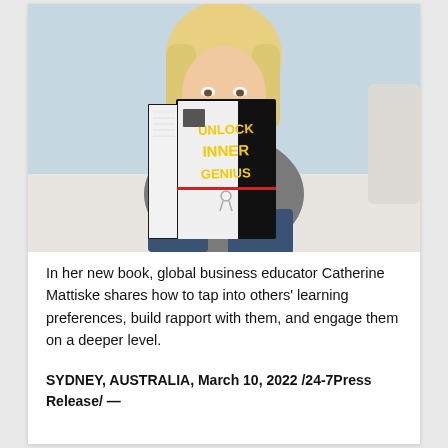[Figure (photo): A blonde woman sitting on a white couch, holding up and reading a black book titled 'UNLOCK INNER GENIUS' with yellow lettering. The book covers her face. She is wearing a grey t-shirt and jeans. Light blue/grey background.]
In her new book, global business educator Catherine Mattiske shares how to tap into others' learning preferences, build rapport with them, and engage them on a deeper level.
SYDNEY, AUSTRALIA, March 10, 2022 /24-7Press Release/ —